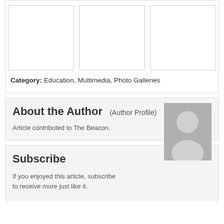[Figure (photo): Three empty white photo boxes arranged in a row, representing a photo gallery.]
Category: Education, Multimedia, Photo Galleries
About the Author (Author Profile)
Article contributed to The Beacon.
[Figure (photo): Generic author avatar placeholder image in gray.]
Subscribe
If you enjoyed this article, subscribe to receive more just like it.